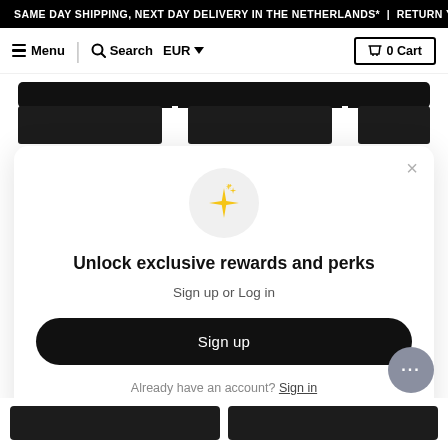SAME DAY SHIPPING, NEXT DAY DELIVERY IN THE NETHERLANDS* | RETURN Y
Menu | Search | EUR | 0 Cart
[Figure (screenshot): E-commerce website screenshot showing a popup modal over a product shelf background. The modal has a sparkle icon, 'Unlock exclusive rewards and perks' heading, 'Sign up or Log in' subtitle, a black Sign up button, and 'Already have an account? Sign in' footer link. A chat button appears bottom right.]
Unlock exclusive rewards and perks
Sign up or Log in
Sign up
Already have an account? Sign in